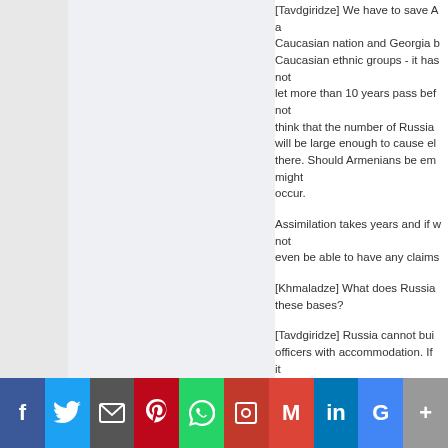[Tavdgiridze] We have to save A a Caucasian nation and Georgia b Caucasian ethnic groups - it has not let more than 10 years pass bef not think that the number of Russia will be large enough to cause el there. Should Armenians be em might occur.
Assimilation takes years and if w not even be able to have any claims
[Khmaladze] What does Russia these bases?
[Tavdgiridze] Russia cannot bui officers with accommodation. If it would not have ceded its positio are used to it. That is to say, in reali